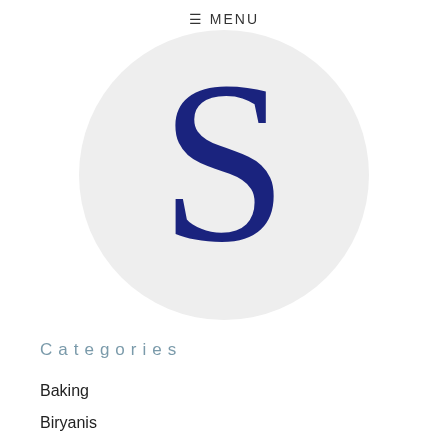≡ MENU
[Figure (logo): Circular light gray logo with a large dark navy blue serif letter S in the center]
Categories
Baking
Biryanis